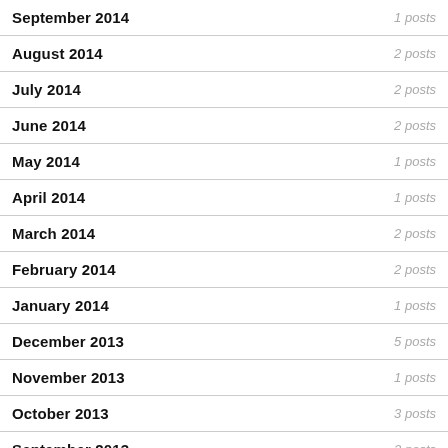September 2014 — 1 posts
August 2014 — 2 posts
July 2014 — 2 posts
June 2014 — 2 posts
May 2014 — 1 posts
April 2014 — 1 posts
March 2014 — 2 posts
February 2014 — 2 posts
January 2014 — 1 posts
December 2013 — 5 posts
November 2013 — 1 posts
October 2013 — 3 posts
September 2013 — 2 posts
July 2013 — 3 posts